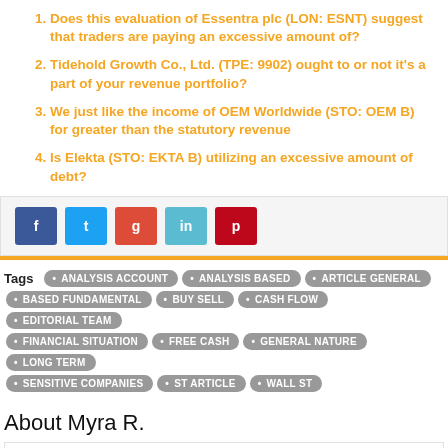Does this evaluation of Essentra plc (LON: ESNT) suggest that traders are paying an excessive amount of?
Tidehold Growth Co., Ltd. (TPE: 9902) ought to or not it's a part of your revenue portfolio?
We just like the income of OEM Worldwide (STO: OEM B) for greater than the statutory revenue
Is Elekta (STO: EKTA B) utilizing an excessive amount of debt?
Tags: ANALYSIS ACCOUNT, ANALYSIS BASED, ARTICLE GENERAL, BASED FUNDAMENTAL, BUY SELL, CASH FLOW, EDITORIAL TEAM, FINANCIAL SITUATION, FREE CASH, GENERAL NATURE, LONG TERM, SENSITIVE COMPANIES, ST ARTICLE, WALL ST
About Myra R.